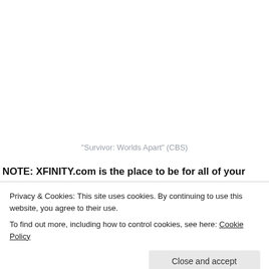"Survivor: Worlds Apart" (CBS)
NOTE: XFINITY.com is the place to be for all of your
Privacy & Cookies: This site uses cookies. By continuing to use this website, you agree to their use.
To find out more, including how to control cookies, see here: Cookie Policy
Close and accept
Survivor – next on: Tribal and Challenge Preview